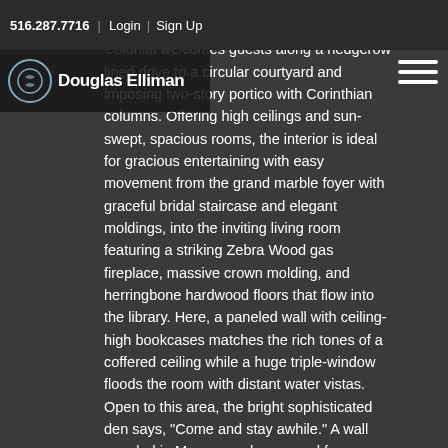516.287.7716 | Login | Sign Up
[Figure (logo): Douglas Elliman real estate logo with circular emblem and text]
...and-a-half-bath, center-hall, brick Georgian Colonial welcomes guests along a hedgerow lined drive to a circular courtyard and imposing two-story portico with Corinthian columns. Offering high ceilings and sun-swept, spacious rooms, the interior is ideal for gracious entertaining with easy movement from the grand marble foyer with graceful bridal staircase and elegant moldings, into the inviting living room featuring a striking Zebra Wood gas fireplace, massive crown molding, and herringbone hardwood floors that flow into the library. Here, a paneled wall with ceiling-high bookcases matches the rich tones of a coffered ceiling while a huge triple-window floods the room with distant water vistas. Open to this area, the bright sophisticated den says, "Come and stay awhile." A wall paneled in Macassar ebony wood frames two floor-length windows framing a giant, Caesar Stone, gas fireplace beneath a large television. The adjoining wall opens through sliders to the expansive rear patio, which overlooks the pool and pond. Through French